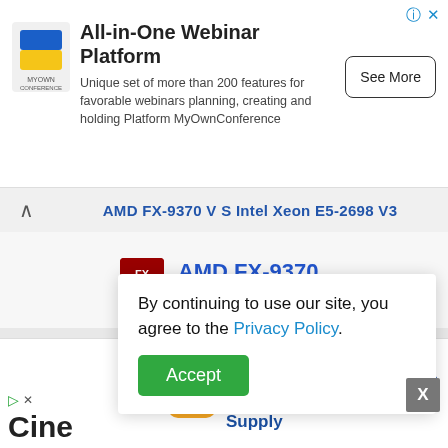[Figure (screenshot): Advertisement banner for MyOwnConference webinar platform with logo, description text, and See More button]
AMD FX-9370 VS Intel Xeon E5-2698 V3
[Figure (screenshot): AMD FX-9370 chip icon with name and specs: 8x 4.40 GHz (4.70 GHz)]
By continuing to use our site, you agree to the Privacy Policy.
Accept
139 (100%)
[Figure (screenshot): Bottom advertisement for Wholesale Screen Print Supply with Open button]
Cine